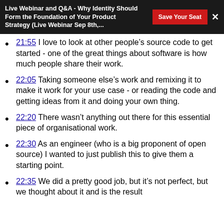Live Webinar and Q&A - Why Identity Should Form the Foundation of Your Product Strategy (Live Webinar Sep 8th,...
21:55 I love to look at other people’s source code to get started - one of the great things about software is how much people share their work.
22:05 Taking someone else’s work and remixing it to make it work for your use case - or reading the code and getting ideas from it and doing your own thing.
22:20 There wasn’t anything out there for this essential piece of organisational work.
22:30 As an engineer (who is a big proponent of open source) I wanted to just publish this to give them a starting point.
22:35 We did a pretty good job, but it’s not perfect, but we thought about it and is the result